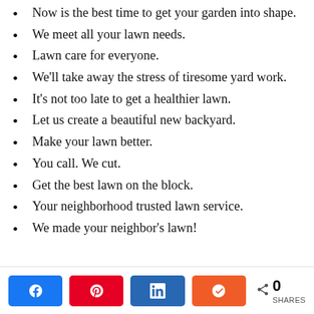Now is the best time to get your garden into shape.
We meet all your lawn needs.
Lawn care for everyone.
We’ll take away the stress of tiresome yard work.
It’s not too late to get a healthier lawn.
Let us create a beautiful new backyard.
Make your lawn better.
You call. We cut.
Get the best lawn on the block.
Your neighborhood trusted lawn service.
We made your neighbor’s lawn!
0 SHARES | Facebook | Pinterest | LinkedIn | Mix